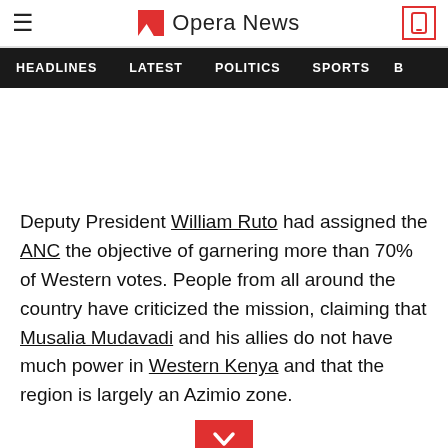Opera News
HEADLINES   LATEST   POLITICS   SPORTS
Deputy President William Ruto had assigned the ANC the objective of garnering more than 70% of Western votes. People from all around the country have criticized the mission, claiming that Musalia Mudavadi and his allies do not have much power in Western Kenya and that the region is largely an Azimio zone.